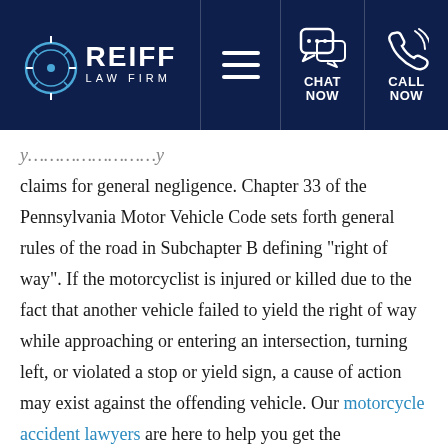[Figure (logo): Reiff Law Firm logo with compass icon, navigation menu icon, chat now button, and call now button in dark navy header]
claims for general negligence. Chapter 33 of the Pennsylvania Motor Vehicle Code sets forth general rules of the road in Subchapter B defining “right of way”. If the motorcyclist is injured or killed due to the fact that another vehicle failed to yield the right of way while approaching or entering an intersection, turning left, or violated a stop or yield sign, a cause of action may exist against the offending vehicle. Our motorcycle accident lawyers are here to help you get the